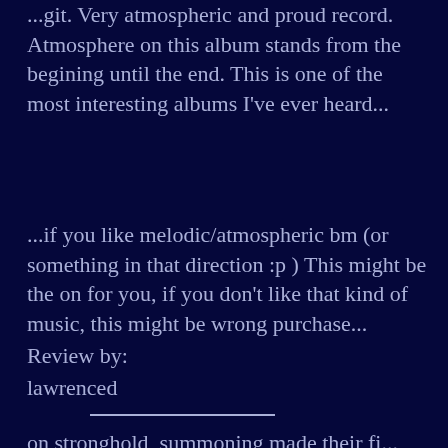...git. Very atmospheric and proud record. Atmosphere on this album stands from the begining until the end. This is one of the most interesting albums I've ever heard...
...if you like melodic/atmospheric bm (or something in that direction :p ) This might be the on for you, if you don't like that kind of music, this might be wrong purchase...
Review by:
lawrenced
on stronghold, summoning made their fi...